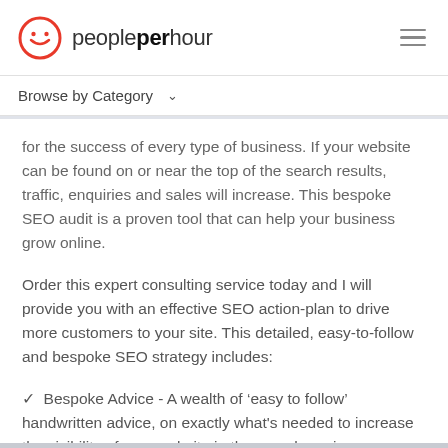[Figure (logo): PeoplePerHour logo with red circle smiley face icon and text 'peopleperhour']
Browse by Category ˅
for the success of every type of business. If your website can be found on or near the top of the search results, traffic, enquiries and sales will increase. This bespoke SEO audit is a proven tool that can help your business grow online.
Order this expert consulting service today and I will provide you with an effective SEO action-plan to drive more customers to your site. This detailed, easy-to-follow and bespoke SEO strategy includes:
✓  Bespoke Advice - A wealth of 'easy to follow' handwritten advice, on exactly what's needed to increase the visibility of your website in the search engines.